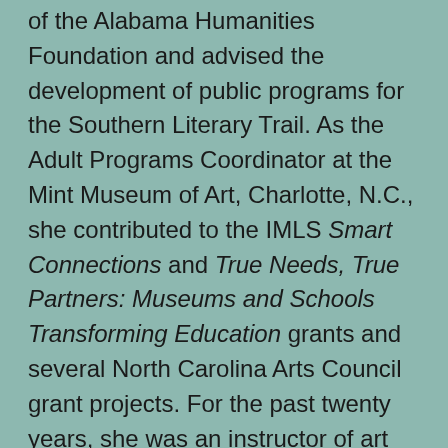of the Alabama Humanities Foundation and advised the development of public programs for the Southern Literary Trail. As the Adult Programs Coordinator at the Mint Museum of Art, Charlotte, N.C., she contributed to the IMLS Smart Connections and True Needs, True Partners: Museums and Schools Transforming Education grants and several North Carolina Arts Council grant projects. For the past twenty years, she was an instructor of art history and fine art at numerous universities. As a lecturer and conference speaker, she has conducted grant writing/fundraising workshops and served as an advisor on grant projects.